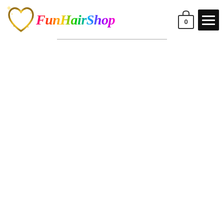[Figure (logo): FunHairShop logo with a golden glitter heart on the left and rainbow italic text 'FunHairShop' on the right, accompanied by a shopping cart icon showing '0' and a black hamburger menu button]